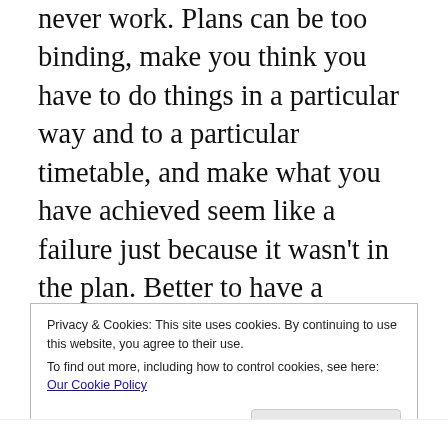never work. Plans can be too binding, make you think you have to do things in a particular way and to a particular timetable, and make what you have achieved seem like a failure just because it wasn't in the plan. Better to have a direction of travel, something that allows for changes and for detours, for side quests and unexpected challenges. So let's say this is the direction I'm heading in, and I'll get there given the right amount of time.
Privacy & Cookies: This site uses cookies. By continuing to use this website, you agree to their use.
To find out more, including how to control cookies, see here: Our Cookie Policy